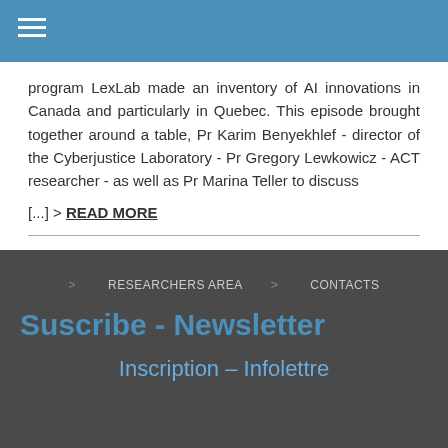program LexLab made an inventory of AI innovations in Canada and particularly in Quebec. This episode brought together around a table, Pr Karim Benyekhlef - director of the Cyberjustice Laboratory - Pr Gregory Lewkowicz - ACT researcher - as well as Pr Marina Teller to discuss [...] > READ MORE
< 1 ... 13 14 15 16 >
> RESEARCHERS AREA  > CONTACTS
Suscribe - Newsletter
Inscription – Infolettre